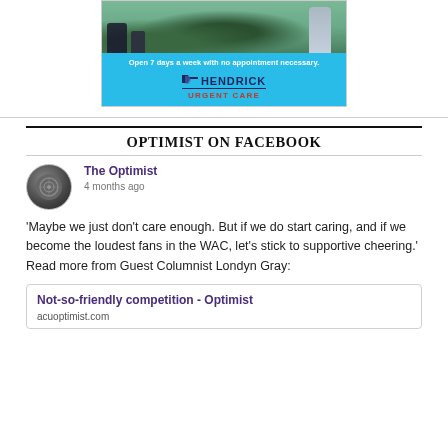[Figure (photo): Hendrick Urgent Care advertisement showing students outdoors with text 'Open 7 days a week with no appointment necessary.' and the Hendrick Urgent Care logo on a teal background.]
OPTIMIST ON FACEBOOK
The Optimist
4 months ago
'Maybe we just don't care enough. But if we do start caring, and if we become the loudest fans in the WAC, let's stick to supportive cheering.' Read more from Guest Columnist Londyn Gray:
Not-so-friendly competition - Optimist
acuoptimist.com